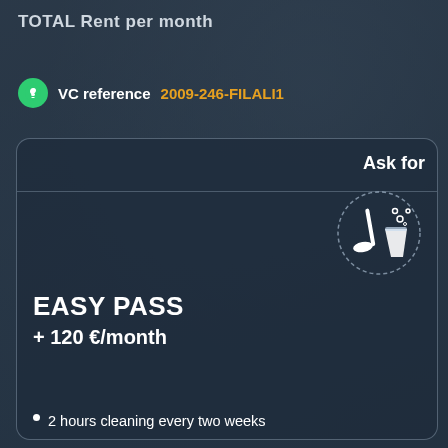TOTAL Rent per month
VC reference  2009-246-FILALI1
Ask for
[Figure (illustration): Cleaning service icon: broom and bucket with bubbles inside a dashed circle]
EASY PASS
+ 120 €/month
2 hours cleaning every two weeks
Fixed cleaning exit fees (60) deducted from security deposit